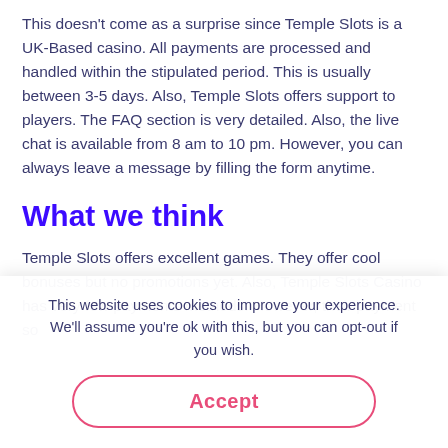This doesn't come as a surprise since Temple Slots is a UK-Based casino. All payments are processed and handled within the stipulated period. This is usually between 3-5 days. Also, Temple Slots offers support to players. The FAQ section is very detailed. Also, the live chat is available from 8 am to 10 pm. However, you can always leave a message by filling the form anytime.
What we think
Temple Slots offers excellent games. They offer cool bonuses but no promotions yet. Also, Temple Slots Casino has very few payments methods. However, their payment so
This website uses cookies to improve your experience. We'll assume you're ok with this, but you can opt-out if you wish.
Accept